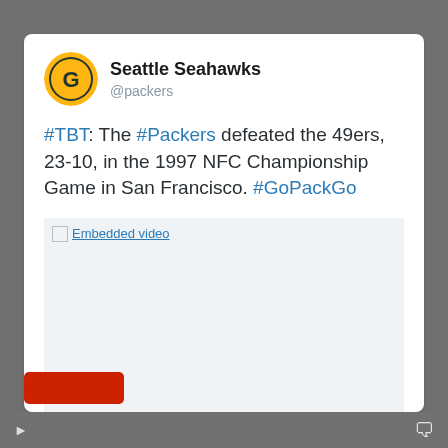[Figure (logo): Green Bay Packers circular logo with gold and green helmet G]
Seattle Seahawks
@packers
#TBT: The #Packers defeated the 49ers, 23-10, in the 1997 NFC Championship Game in San Francisco. #GoPackGo
[Figure (screenshot): Embedded video placeholder with light blue background showing broken image icon and 'Embedded video' link text]